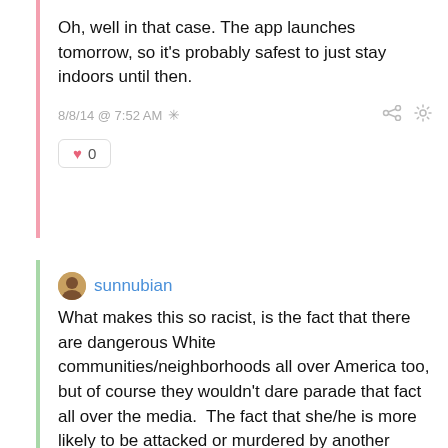Oh, well in that case. The app launches tomorrow, so it's probably safest to just stay indoors until then.
8/8/14 @ 7:52 AM
0
sunnubian
What makes this so racist, is the fact that there are dangerous White communities/neighborhoods all over America too, but of course they wouldn't dare parade that fact all over the media.  The fact that she/he is more likely to be attacked or murdered by another White person just goes right over the head of this "app".  All the Black people in America and all the Black people in that area should sue